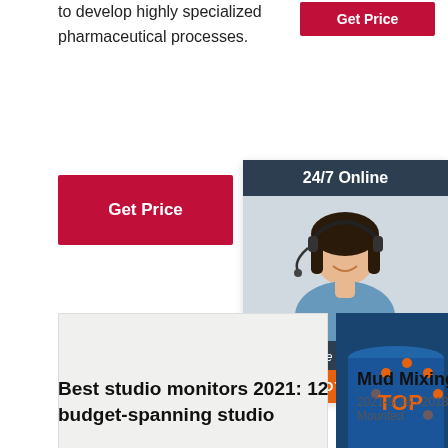to develop highly specialized pharmaceutical processes.
[Figure (other): Red 'Get Price' button at top]
[Figure (other): Red 'Get Price' button on left]
[Figure (photo): 24/7 Online chat widget with woman wearing headset, 'Click here for free chat!' text, and orange QUOTATION button]
[Figure (photo): WINMAN branded industrial machine photo]
[Figure (photo): Blue industrial drums/barrels with Chinese text]
[Figure (photo): Industrial cementing equipment drums]
Best studio monitors 2021: 12 budget-spanning studio
Mud Mixing System For Sale
2021-8-26 · 2018 DITCH WITCH FM5X Skid Mounted
Cementing Equipment
2011-12-12 · Computer system AB